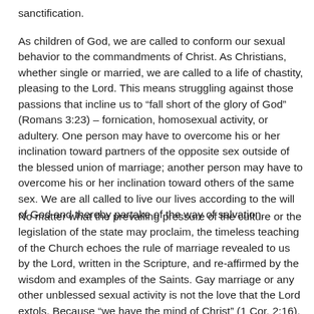sanctification.
As children of God, we are called to conform our sexual behavior to the commandments of Christ. As Christians, whether single or married, we are called to a life of chastity, pleasing to the Lord. This means struggling against those passions that incline us to “fall short of the glory of God” (Romans 3:23) – fornication, homosexual activity, or adultery. One person may have to overcome his or her inclination toward partners of the opposite sex outside of the blessed union of marriage; another person may have to overcome his or her inclination toward others of the same sex. We are all called to live our lives according to the will of God and thereby partake of the way of salvation.
No matter what the prevailing pressure of the culture or the legislation of the state may proclaim, the timeless teaching of the Church echoes the rule of marriage revealed to us by the Lord, written in the Scripture, and re-affirmed by the wisdom and examples of the Saints. Gay marriage or any other unblessed sexual activity is not the love that the Lord extols. Because “we have the mind of Christ” (1 Cor. 2:16), no